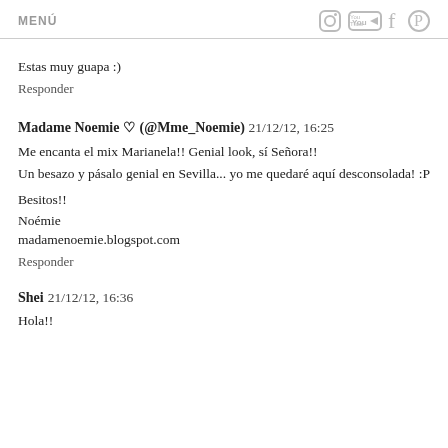MENÚ
Estas muy guapa :)
Responder
Madame Noemie ♡ (@Mme_Noemie)  21/12/12, 16:25
Me encanta el mix Marianela!! Genial look, sí Señora!!
Un besazo y pásalo genial en Sevilla... yo me quedaré aquí desconsolada! :P
Besitos!!
Noémie
madamenoemie.blogspot.com
Responder
Shei  21/12/12, 16:36
Hola!!